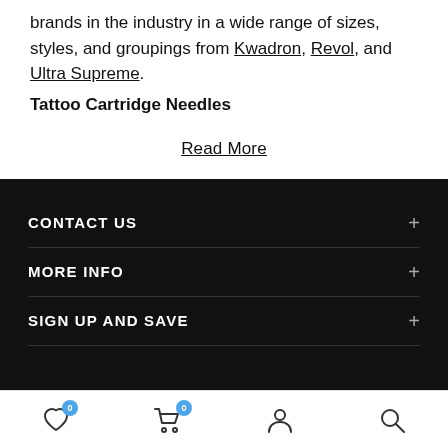brands in the industry in a wide range of sizes, styles, and groupings from Kwadron, Revol, and Ultra Supreme.
Tattoo Cartridge Needles
Read More
CONTACT US
MORE INFO
SIGN UP AND SAVE
Icons: wishlist (0), cart (0), account, search